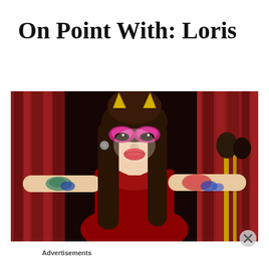On Point With: Loris
[Figure (photo): A person in drag costume wearing gold devil horns, dramatic pink and red eye makeup, red lipstick, long brown hair, red outfit, and colorful tattoos on both arms, posing with arms outstretched in front of red curtains at what appears to be a nightclub or performance venue.]
Advertisements